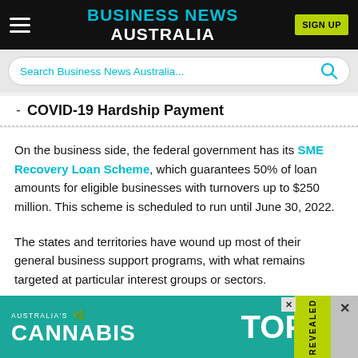BUSINESS NEWS AUSTRALIA
COVID-19 Hardship Payment
On the business side, the federal government has its SME Recovery Loan Scheme, which guarantees 50% of loan amounts for eligible businesses with turnovers up to $250 million. This scheme is scheduled to run until June 30, 2022.
The states and territories have wound up most of their general business support programs, with what remains targeted at particular interest groups or sectors.
[Figure (other): Advertisement banner: AUSTRALIA'S CANNABIS TOP 20 REVEALED]